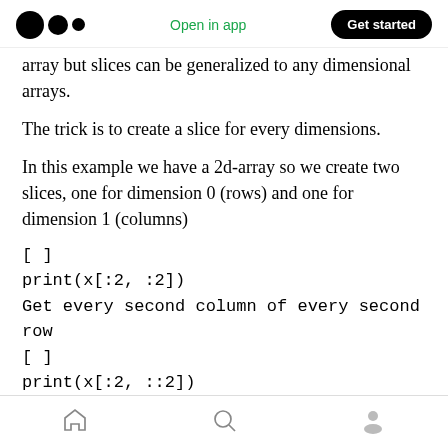Open in app  Get started
array but slices can be generalized to any dimensional arrays.
The trick is to create a slice for every dimensions.
In this example we have a 2d-array so we create two slices, one for dimension 0 (rows) and one for dimension 1 (columns)
[ ]
print(x[:2, :2])
Get every second column of every second row
[ ]
print(x[:2, ::2])